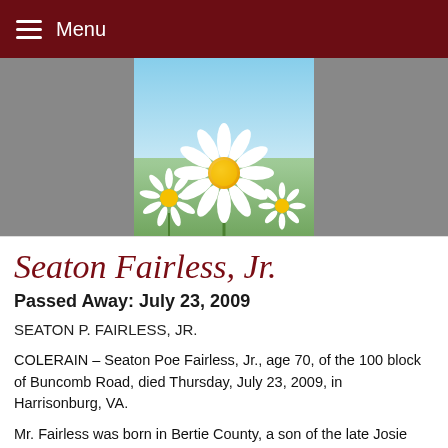Menu
[Figure (photo): Three-panel image header: left and right panels are gray placeholder images, center panel shows white daisy flowers with yellow centers on a blurred green background.]
Seaton Fairless, Jr.
Passed Away: July 23, 2009
SEATON P. FAIRLESS, JR.
COLERAIN – Seaton Poe Fairless, Jr., age 70, of the 100 block of Buncomb Road, died Thursday, July 23, 2009, in Harrisonburg, VA.
Mr. Fairless was born in Bertie County, a son of the late Josie Harrell and Seaton Poe Fairless, Sr. He was a former member of Colerain Baptist Church where he served as a Deacon and Sunday School Superintendent;